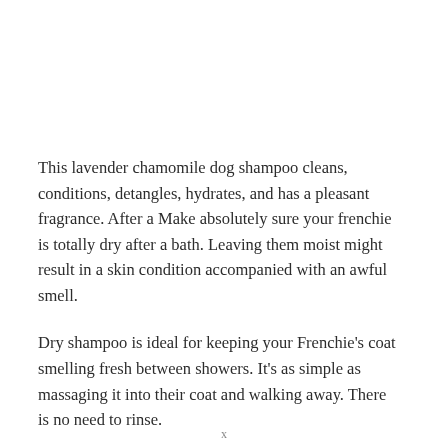This lavender chamomile dog shampoo cleans, conditions, detangles, hydrates, and has a pleasant fragrance. After a Make absolutely sure your frenchie is totally dry after a bath. Leaving them moist might result in a skin condition accompanied with an awful smell.
Dry shampoo is ideal for keeping your Frenchie's coat smelling fresh between showers. It's as simple as massaging it into their coat and walking away. There is no need to rinse.
THEIR BELONGINGS MUST BE REPLACED